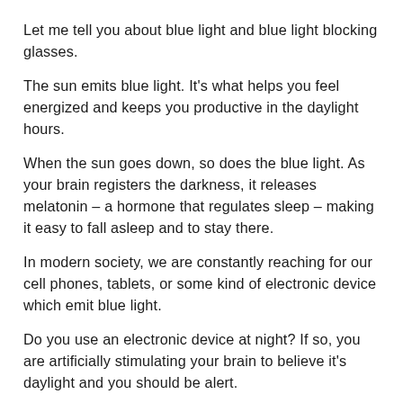Let me tell you about blue light and blue light blocking glasses.
The sun emits blue light. It’s what helps you feel energized and keeps you productive in the daylight hours.
When the sun goes down, so does the blue light. As your brain registers the darkness, it releases melatonin – a hormone that regulates sleep – making it easy to fall asleep and to stay there.
In modern society, we are constantly reaching for our cell phones, tablets, or some kind of electronic device which emit blue light.
Do you use an electronic device at night? If so, you are artificially stimulating your brain to believe it’s daylight and you should be alert.